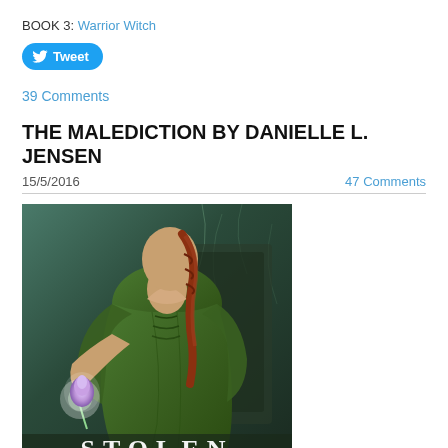BOOK 3: Warrior Witch
Tweet
39 Comments
THE MALEDICTION BY DANIELLE L. JENSEN
15/5/2016
47 Comments
[Figure (photo): Book cover image for 'Stolen' by Danielle L. Jensen showing a woman in an elaborate green dress holding a glowing purple flower, with dark gothic background. The word STOLEN is visible at the bottom.]